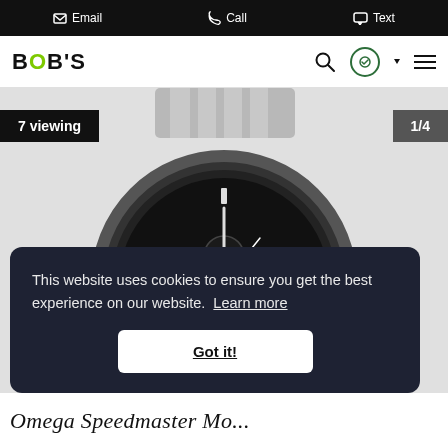Email   Call   Text
[Figure (logo): BOB'S logo with green O]
[Figure (photo): Omega Speedmaster Professional chronograph watch with black dial and stainless steel bracelet]
7 viewing
1/4
This website uses cookies to ensure you get the best experience on our website. Learn more
Got it!
Omega Speedmaster Mo...